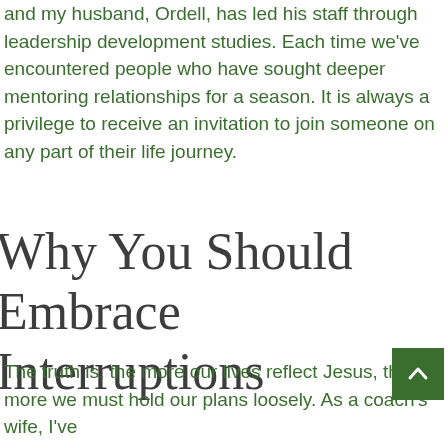and my husband, Ordell, has led his staff through leadership development studies. Each time we've encountered people who have sought deeper mentoring relationships for a season. It is always a privilege to receive an invitation to join someone on any part of their life journey.
Why You Should Embrace Interruptions
The truth is, the more our lives reflect Jesus, the more we must hold our plans loosely. As a coach's wife, I've